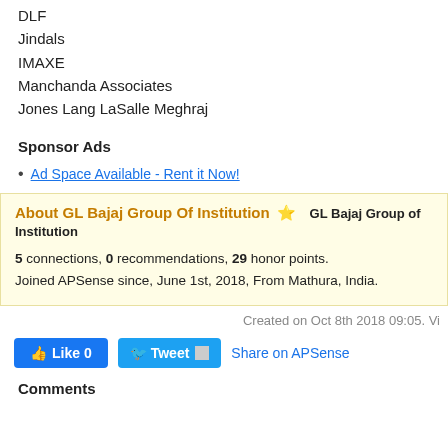DLF
Jindals
IMAXE
Manchanda Associates
Jones Lang LaSalle Meghraj
Sponsor Ads
Ad Space Available - Rent it Now!
About GL Bajaj Group Of Institution ⭐ GL Bajaj Group of Institution
5 connections, 0 recommendations, 29 honor points.
Joined APSense since, June 1st, 2018, From Mathura, India.
Created on Oct 8th 2018 09:05. Vi
Like 0   Tweet   Share on APSense
Comments